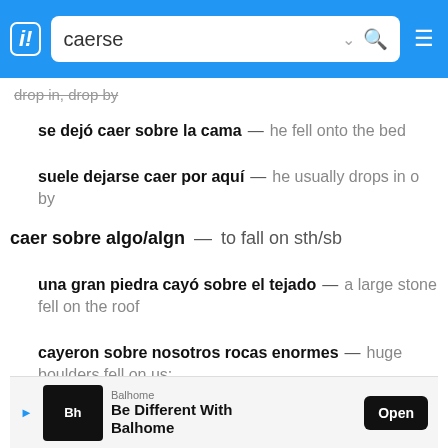caerse — SpanishDict search
drop in, drop by
se dejó caer sobre la cama — he fell onto the bed
suele dejarse caer por aquí — he usually drops in o by
caer sobre algo/algn — to fall on sth/sb
una gran piedra cayó sobre el tejado — a large stone fell on the roof
cayeron sobre nosotros rocas enormes — huge boulders fell on us;
los presos cayeron sobre el guarda — the prisoners fell on the warder;
📱 Take SpanishDict with you
[Figure (screenshot): Advertisement banner for Balhome: 'Be Different With Balhome' with Open button]